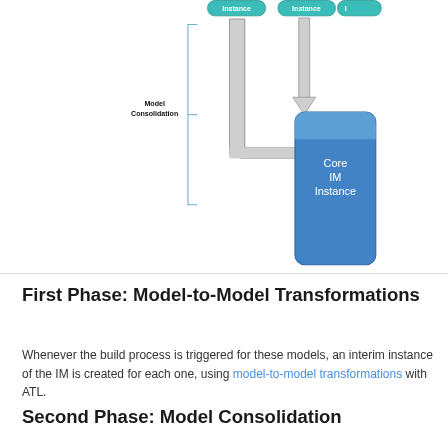[Figure (flowchart): Partial diagram showing Model Consolidation phase with Instance boxes at top, curved arrows, and Core IM Instance blue rounded rectangle box. Two Instance boxes visible at top with teal/cyan rounded pill labels, large blue rounded rectangle on right labeled 'Core IM Instance', curved L-shaped gray arrow pointing right into Core IM Instance box, straight gray arrow pointing down into Core IM Instance box from second Instance.]
First Phase: Model-to-Model Transformations
Whenever the build process is triggered for these models, an interim instance of the IM is created for each one, using model-to-model transformations with ATL.
Second Phase: Model Consolidation